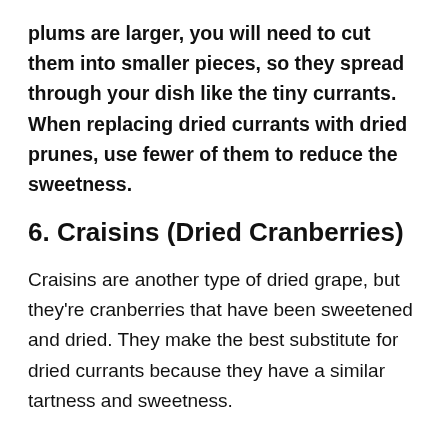plums are larger, you will need to cut them into smaller pieces, so they spread through your dish like the tiny currants. When replacing dried currants with dried prunes, use fewer of them to reduce the sweetness.
6. Craisins (Dried Cranberries)
Craisins are another type of dried grape, but they're cranberries that have been sweetened and dried. They make the best substitute for dried currants because they have a similar tartness and sweetness.